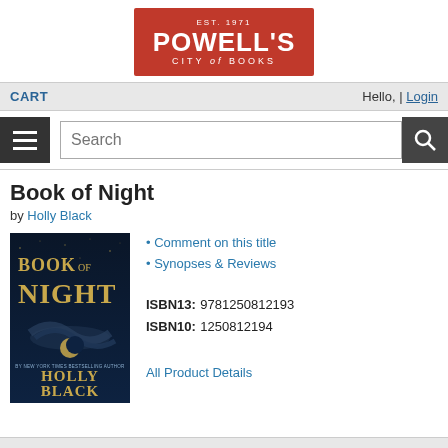[Figure (logo): Powell's City of Books logo — red rectangle with EST. 1971 at top, POWELL'S in large white bold text, CITY of BOOKS below in white]
CART   Hello, | Login
[Figure (screenshot): Navigation bar with hamburger menu button and search input box with search icon]
Book of Night
by Holly Black
[Figure (photo): Book cover of 'Book of Night' by Holly Black — dark blue/black cover with large stylized text 'BOOK OF NIGHT' and author name 'HOLLY BLACK' at bottom, with a crescent moon and serpentine shape]
Comment on this title
Synopses & Reviews
ISBN13: 9781250812193
ISBN10: 1250812194
All Product Details